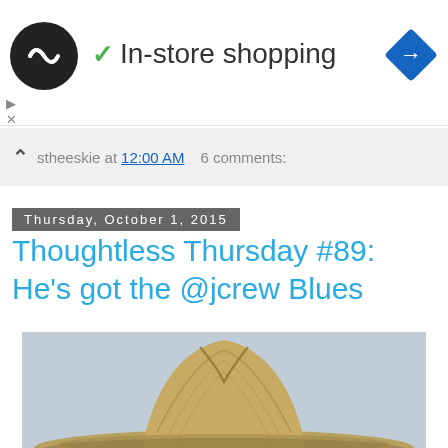[Figure (screenshot): Black circular logo with infinity-like symbol and checkmark with 'In-store shopping' text, plus blue diamond navigation icon]
stheeskie at 12:00 AM   6 comments:
Thursday, October 1, 2015
Thoughtless Thursday #89: He's got the @jcrew Blues
[Figure (photo): Close-up photo of a tan/wheat colored woven straw fedora hat against a grey background]